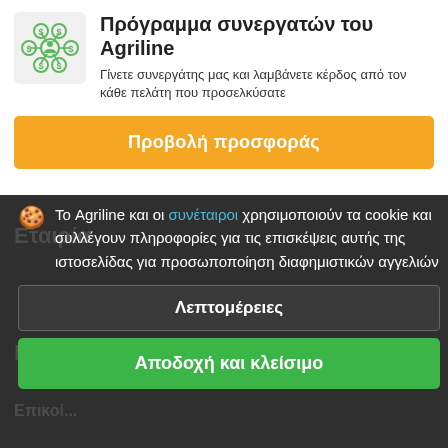[Figure (illustration): Green network/partner icon showing a central person node connected to dollar-sign nodes on a light gray rounded square background]
Πρόγραμμα συνεργατών του Agriline
Γίνετε συνεργάτης μας και λαμβάνετε κέρδος από τον κάθε πελάτη που προσελκύσατε
Προβολή προσφοράς
Το Agriline και οι συνέταιροι χρησιμοποιούν τα cookie και συλλέγουν πληροφορίες για τις επισκέψεις αυτής της ιστοσελίδας για προσωποποίηση διαφημιστικών αγγελιών
Λεπτομέρειες
Αποδοχή και κλείσιμο